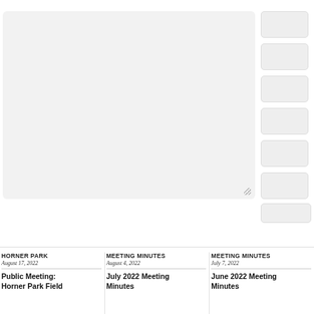[Figure (screenshot): Large light gray textarea input box with resize handle in bottom-right corner, and a vertical column of gray rounded-rectangle buttons on the right side plus a submit button below]
HORNER PARK
August 17, 2022
Public Meeting: Horner Park Field
MEETING MINUTES
August 4, 2022
July 2022 Meeting Minutes
MEETING MINUTES
July 7, 2022
June 2022 Meeting Minutes